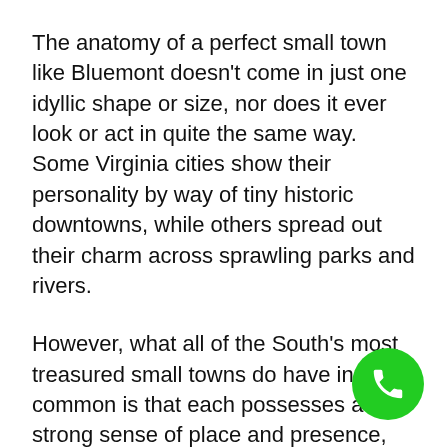The anatomy of a perfect small town like Bluemont doesn't come in just one idyllic shape or size, nor does it ever look or act in quite the same way. Some Virginia cities show their personality by way of tiny historic downtowns, while others spread out their charm across sprawling parks and rivers.
However, what all of the South's most treasured small towns do have in common is that each possesses a strong sense of place and presence, no matter how little square footage they actually hold.
The heart of the South can be found in Bluemont if only you're paying close enough attention to what the storied streets, friendly locals, and lovable quirks are telling you. Add each of these winners to your dream travel itinerary, and you'll be eating beignets, dancing to bluegrass music, and exploring